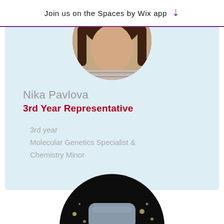Join us on the Spaces by Wix app
[Figure (photo): Top cropped circular profile photo of a person with dark hair wearing a striped shirt, light blue background]
Nika Pavlova
3rd Year Representative
3rd year
Molecular Genetics Specialist &
Chemistry Minor
[Figure (photo): Circular profile photo of a young person wearing a grey beanie hat, with bokeh lights in dark background]